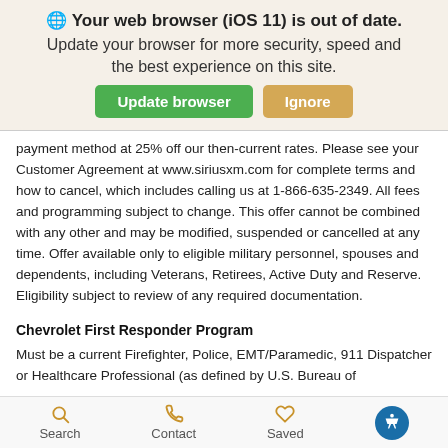[Figure (screenshot): Browser update banner with globe icon, bold title 'Your web browser (iOS 11) is out of date.', subtitle text, and two buttons: green 'Update browser' and yellow 'Ignore']
payment method at 25% off our then-current rates. Please see your Customer Agreement at www.siriusxm.com for complete terms and how to cancel, which includes calling us at 1-866-635-2349. All fees and programming subject to change. This offer cannot be combined with any other and may be modified, suspended or cancelled at any time. Offer available only to eligible military personnel, spouses and dependents, including Veterans, Retirees, Active Duty and Reserve. Eligibility subject to review of any required documentation.
Chevrolet First Responder Program
Must be a current Firefighter, Police, EMT/Paramedic, 911 Dispatcher or Healthcare Professional (as defined by U.S. Bureau of
Search   Contact   Saved   [Accessibility]